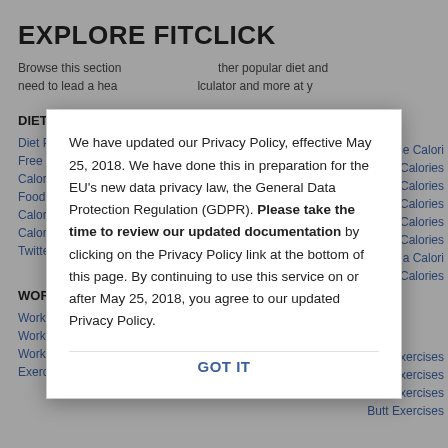EXPLORE FITCLICK
Browse this section to find links to diet plans and other popular diet and need to lead a healthy lifestyle including a calorie calculator and more at y
DIET & NUTRITION
Diet Plan
Free Diet Plans
Calorie Counter
Food Diary
Calorie Calculator
Calories Per Day
Twitter Food
Cheese Calories
Bread Calories
Egg Calories
Milk Calories
Coffee Calories
Apple Calories
Banana Calories
Salad Calories
WORKOUT & FITNESS
Workout Routine
Workout Plans
Workout Tracker
Exercise Program
Back Exercises
Lower Back Exercises
Core Exercises
Leg Exercises
Arm Exercises
Butt Exercises
We have updated our Privacy Policy, effective May 25, 2018. We have done this in preparation for the EU's new data privacy law, the General Data Protection Regulation (GDPR). Please take the time to review our updated documentation by clicking on the Privacy Policy link at the bottom of this page. By continuing to use this service on or after May 25, 2018, you agree to our updated Privacy Policy.
GOT IT